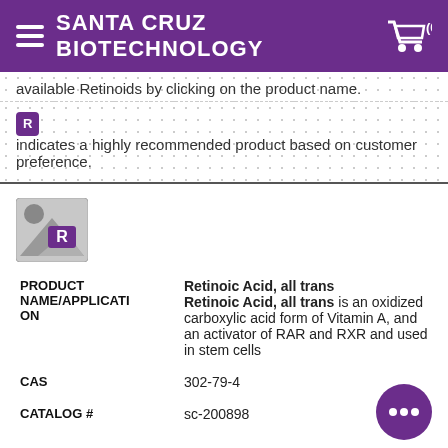SANTA CRUZ BIOTECHNOLOGY
available Retinoids by clicking on the product name.
R indicates a highly recommended product based on customer preference.
[Figure (logo): Santa Cruz Biotechnology recommended product badge icon with R label on grey background]
| Field | Value |
| --- | --- |
| PRODUCT NAME/APPLICATION | Retinoic Acid, all trans
Retinoic Acid, all trans is an oxidized carboxylic acid form of Vitamin A, and an activator of RAR and RXR and used in stem cells |
| CAS | 302-79-4 |
| CATALOG # | sc-200898 |